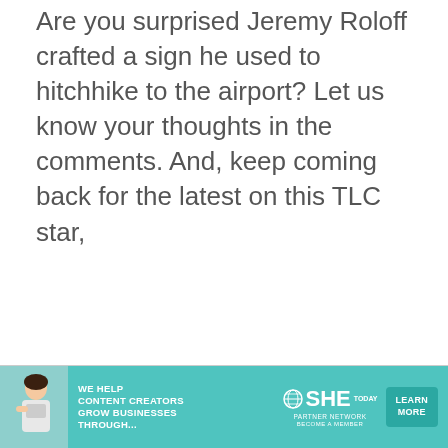Are you surprised Jeremy Roloff crafted a sign he used to hitchhike to the airport? Let us know your thoughts in the comments. And, keep coming back for the latest on this TLC star,
[Figure (infographic): Advertisement banner for SHE Media Partner Network with teal background, woman with laptop photo, headline 'WE HELP CONTENT CREATORS GROW BUSINESSES THROUGH...', SHE Today logo with globe icon, 'PARTNER NETWORK BECOME A MEMBER' text, and 'LEARN MORE' button]